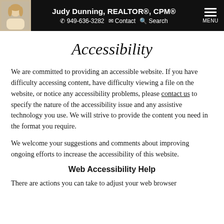Judy Dunning, REALTOR®, CPM® | 949-636-3282 | Contact | Search | MENU
Accessibility
We are committed to providing an accessible website. If you have difficulty accessing content, have difficulty viewing a file on the website, or notice any accessibility problems, please contact us to specify the nature of the accessibility issue and any assistive technology you use. We will strive to provide the content you need in the format you require.
We welcome your suggestions and comments about improving ongoing efforts to increase the accessibility of this website.
Web Accessibility Help
There are actions you can take to adjust your web browser